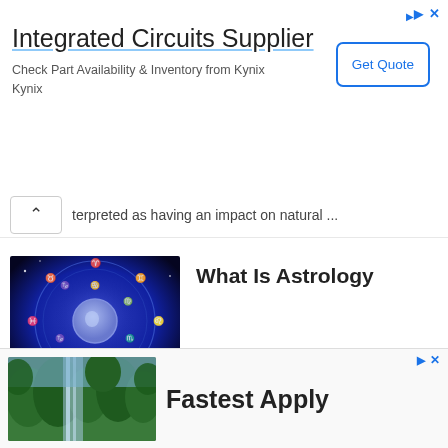[Figure (screenshot): Advertisement banner for Integrated Circuits Supplier from Kynix with Get Quote button]
Integrated Circuits Supplier
Check Part Availability & Inventory from Kynix Kynix
terpreted as having an impact on natural ...
What Is Astrology
[Figure (illustration): Blue glowing zodiac wheel with moon and astrological symbols on dark blue background]
What Is Astrology Astrology is the earliest instrument of man for enhancing self-awareness. It is an invaluable instrument for a ...
[Figure (screenshot): Advertisement banner with waterfall/jungle photo and text Fastest Apply]
Fastest Apply